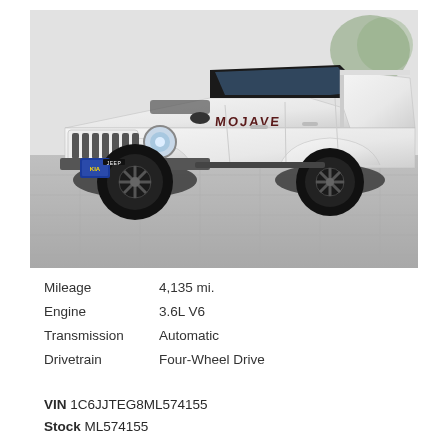[Figure (photo): White Jeep Gladiator Mojave pickup truck parked on a tiled surface, front three-quarter view showing the iconic 7-slot grille, black wheels, and 'MOJAVE' badge on the side. A blue dealer plate is visible on the front bumper.]
Mileage	4,135 mi.
Engine	3.6L V6
Transmission	Automatic
Drivetrain	Four-Wheel Drive
VIN 1C6JJTEG8ML574155
Stock ML574155